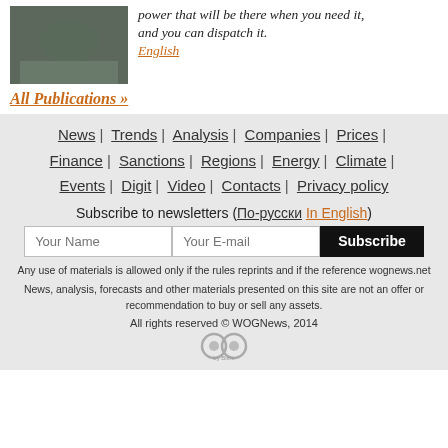power that will be there when you need it, and you can dispatch it. English
All Publications »
News | Trends | Analysis | Companies | Prices | Finance | Sanctions | Regions | Energy | Climate | Events | Digit | Video | Contacts | Privacy policy
Subscribe to newsletters (По-русски In English)
Any use of materials is allowed only if the rules reprints and if the reference wognews.net
News, analysis, forecasts and other materials presented on this site are not an offer or recommendation to buy or sell any assets.
All rights reserved © WOGNews, 2014